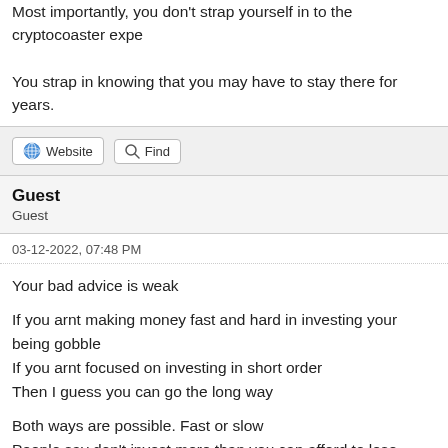Most importantly, you don't strap yourself in to the cryptocoaster expe
You strap in knowing that you may have to stay there for years.
Website   Find
Guest
Guest
03-12-2022, 07:48 PM
Your bad advice is weak

If you arnt making money fast and hard in investing your being gobble
If you arnt focused on investing in short order
Then I guess you can go the long way

Both ways are possible. Fast or slow
People say don't invest more than you can afford to lose

Meanwhile I say invest it all. Invest in anything that gives a return ove

Spend it all. Take gambles.